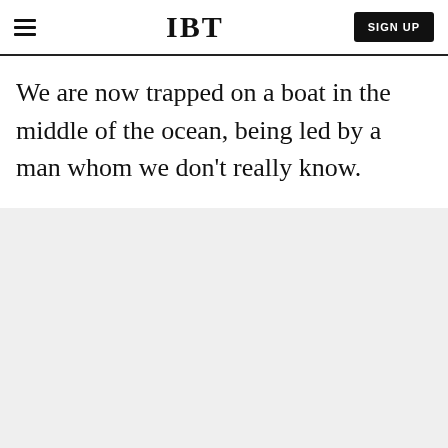IBT | SIGN UP
We are now trapped on a boat in the middle of the ocean, being led by a man whom we don't really know.